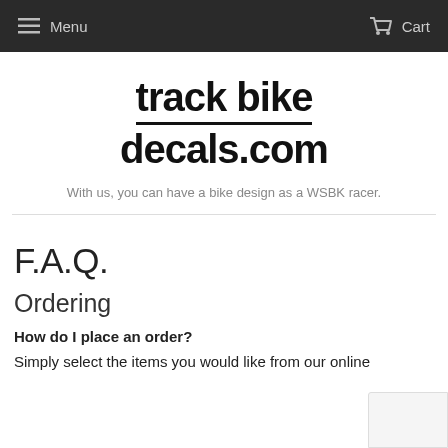Menu   Cart
track bike decals.com
With us, you can have a bike design as a WSBK racer.
F.A.Q.
Ordering
How do I place an order?
Simply select the items you would like from our online